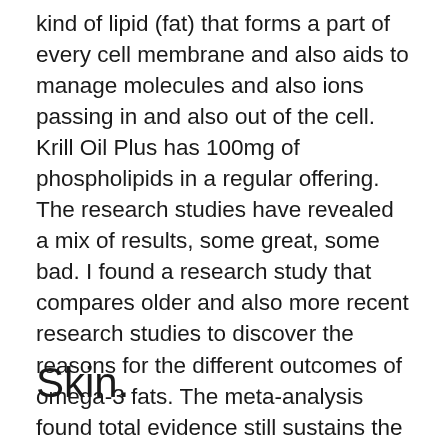kind of lipid (fat) that forms a part of every cell membrane and also aids to manage molecules and also ions passing in and also out of the cell. Krill Oil Plus has 100mg of phospholipids in a regular offering. The research studies have revealed a mix of results, some great, some bad. I found a research study that compares older and also more recent research studies to discover the reasons for the different outcomes of omega-3 fats. The meta-analysis found total evidence still sustains the American Heart Association's referral of having 2 servings of fatty fish weekly.3.
Skin.